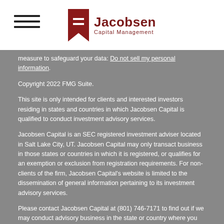[Figure (logo): Jacobsen Capital Management logo with red bookmark icon and brand name]
measure to safeguard your data: Do not sell my personal information.
Copyright 2022 FMG Suite.
This site is only intended for clients and interested investors residing in states and countries in which Jacobsen Capital is qualified to conduct investment advisory services.
Jacobsen Capital is an SEC registered investment adviser located in Salt Lake City, UT. Jacobsen Capital may only transact business in those states or countries in which it is registered, or qualifies for an exemption or exclusion from registration requirements. For non-clients of the firm, Jacobsen Capital's website is limited to the dissemination of general information pertaining to its investment advisory services.
Please contact Jacobsen Capital at (801) 746-7171 to find out if we may conduct advisory business in the state or country where you reside. Accordingly, Jacobsen Capital does not, and will not, effect or attempt to effect transactions in securities, or the rendering of personalized investment advice for compensation, through this website. Any subsequent, direct communication with a prospective client shall be conducted by a Jacobsen Capital representative who is either registered or qualifies for an exemption or exclusion from registration in the state or country where the prospective client resides.